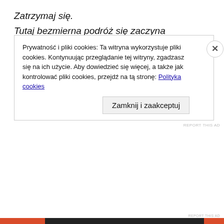Zatrzymaj się.
Tutaj bezmierna podróż się zaczyna
W przebłysku chwili
Seefra-1 Chamber Inscription
Vedran
005-AT9
*
REPORT THIS AD
Prywatność i pliki cookies: Ta witryna wykorzystuje pliki cookies. Kontynuując przeglądanie tej witryny, zgadzasz się na ich użycie. Aby dowiedzieć się więcej, a także jak kontrolować pliki cookies, przejdź na tą stronę: Polityka cookies
Zamknij i zaakceptuj